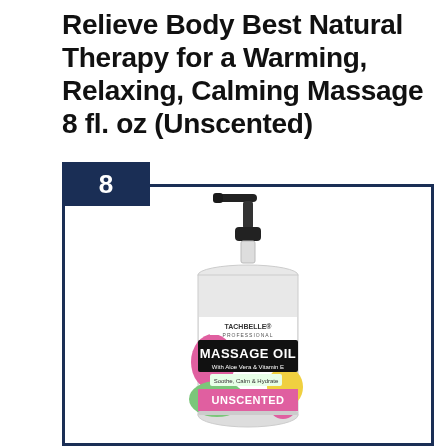Relieve Body Best Natural Therapy for a Warming, Relaxing, Calming Massage 8 fl. oz (Unscented)
[Figure (photo): A pump bottle of Tachbelle Professional Massage Oil with Aloe Vera & Vitamin E, labeled Unscented, with colorful label featuring pink, green and yellow design elements. Number badge '8' in dark navy square in upper left corner of bordered card.]